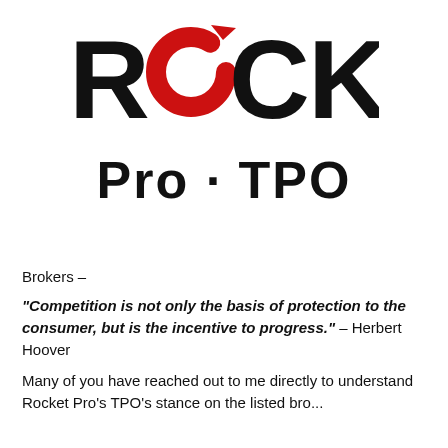[Figure (logo): Rocket Pro TPO logo — ROCKET in large bold black text with a red circular arrow icon replacing the letter O, and 'Pro · TPO' in large bold black text below]
Brokers –
"Competition is not only the basis of protection to the consumer, but is the incentive to progress." – Herbert Hoover
Many of you have reached out to me directly to understand Rocket Pro's TPO's stance on the listed bro...